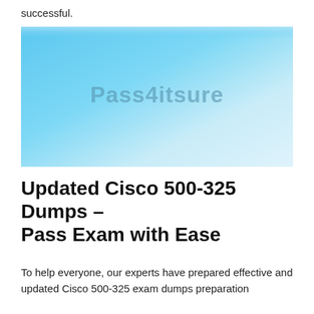successful.
[Figure (logo): Pass4itsure promotional banner image with blue-to-white gradient background and 'Pass4itsure' watermark text in the center]
Updated Cisco 500-325 Dumps – Pass Exam with Ease
To help everyone, our experts have prepared effective and updated Cisco 500-325 exam dumps preparation